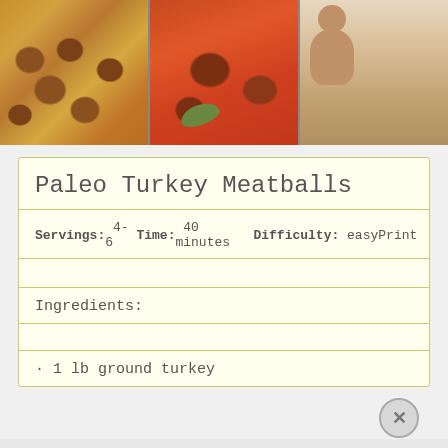[Figure (photo): Three food/person photos in a horizontal strip: left shows raw meatballs on white surface, center shows meatballs in tomato sauce with leaf garnish, right shows shirtless man holding a plate of food in a kitchen]
Paleo Turkey Meatballs
Servings: 4-6   Time: 40 minutes   Difficulty: easy   Print
Ingredients:
• 1 lb ground turkey
Advertisements